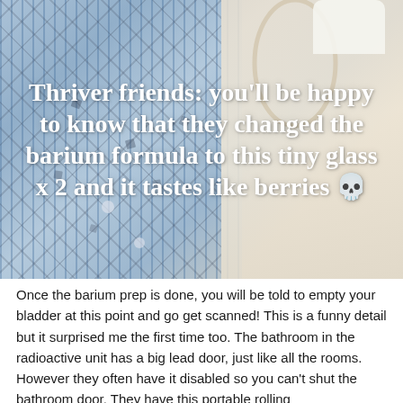[Figure (photo): Photo of a person wearing a blue striped shirt with small dark diamond pattern, beige jacket, and holding or near a circular ring/loop object and a white mask-like object in top right. Overlaid with white bold text about barium formula.]
Thriver friends: you'll be happy to know that they changed the barium formula to this tiny glass x 2 and it tastes like berries 💀
Once the barium prep is done, you will be told to empty your bladder at this point and go get scanned! This is a funny detail but it surprised me the first time too. The bathroom in the radioactive unit has a big lead door, just like all the rooms. However they often have it disabled so you can't shut the bathroom door. They have this portable rolling